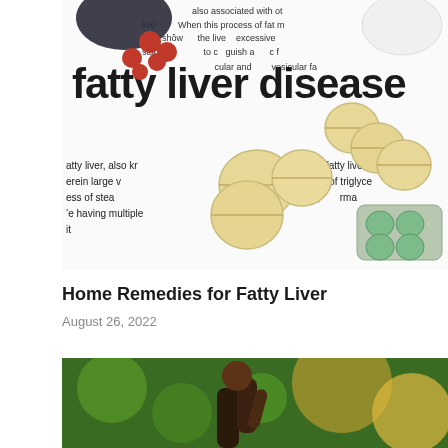[Figure (photo): A close-up photograph of a medical document with the text 'fatty liver disease' prominently displayed in bold black font, surrounded by various pills: yellow/beige round tablets, red capsules, and green tablets in a blister pack, scattered on the white paper]
Home Remedies for Fatty Liver
August 26, 2022
[Figure (photo): A partial photograph showing a person outdoors, with a blurred green and golden bokeh background, appearing to be exercising or walking]